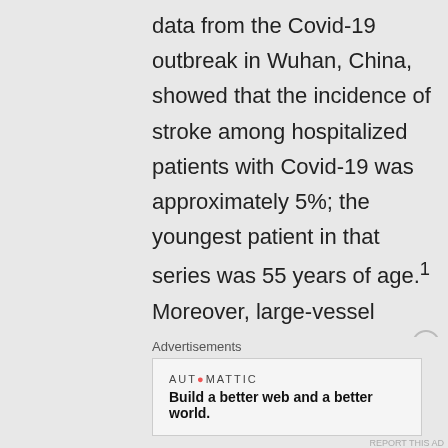data from the Covid-19 outbreak in Wuhan, China, showed that the incidence of stroke among hospitalized patients with Covid-19 was approximately 5%; the youngest patient in that series was 55 years of age.1 Moreover, large-vessel stroke was reported in association with the 2004 SARS-CoV-1 outbreak in Singapore.2 Coagulopathy
Advertisements
AUTOMATTIC
Build a better web and a better world.